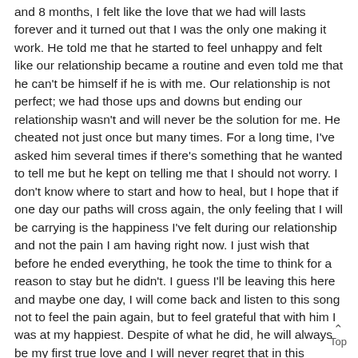and 8 months, I felt like the love that we had will lasts forever and it turned out that I was the only one making it work. He told me that he started to feel unhappy and felt like our relationship became a routine and even told me that he can't be himself if he is with me. Our relationship is not perfect; we had those ups and downs but ending our relationship wasn't and will never be the solution for me. He cheated not just once but many times. For a long time, I've asked him several times if there's something that he wanted to tell me but he kept on telling me that I should not worry. I don't know where to start and how to heal, but I hope that if one day our paths will cross again, the only feeling that I will be carrying is the happiness I've felt during our relationship and not the pain I am having right now. I just wish that before he ended everything, he took the time to think for a reason to stay but he didn't. I guess I'll be leaving this here and maybe one day, I will come back and listen to this song not to feel the pain again, but to feel grateful that with him I was at my happiest. Despite of what he did, he will always be my first true love and I will never regret that in this lifetime I have loved him so much. To the one that I pertaining to, I hope you get the happiness that u want. I that ending our relationship will be worth it and I wish you.